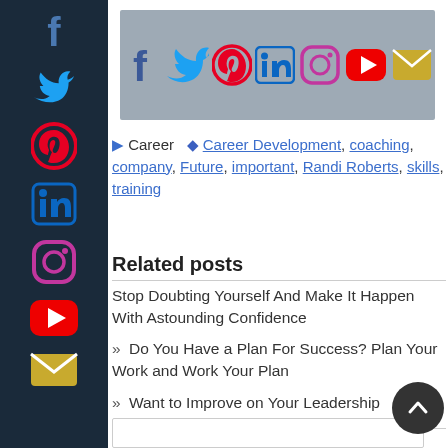[Figure (infographic): Dark left sidebar with social media icons: Facebook, Twitter, Pinterest, LinkedIn, Instagram, YouTube, Email]
[Figure (infographic): Gray horizontal banner with social media icons: Facebook (dark blue), Twitter (light blue), Pinterest (red), LinkedIn (dark blue), Instagram (pink/purple), YouTube (red), Email (yellow)]
Career  Career Development, coaching, company, Future, important, Randi Roberts, skills, training
Related posts
Stop Doubting Yourself And Make It Happen With Astounding Confidence
» Do You Have a Plan For Success? Plan Your Work and Work Your Plan
» Want to Improve on Your Leadership Qualities? Start With Selfcare